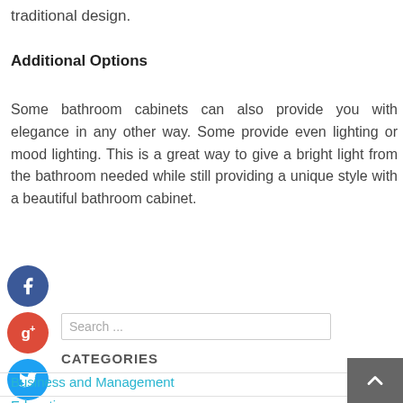traditional design.
Additional Options
Some bathroom cabinets can also provide you with elegance in any other way. Some provide even lighting or mood lighting. This is a great way to give a bright light from the bathroom needed while still providing a unique style with a beautiful bathroom cabinet.
[Figure (illustration): Facebook, Google+, Twitter, and Pinterest social media share buttons as circular icons]
Search ...
CATEGORIES
Business and Management
Education